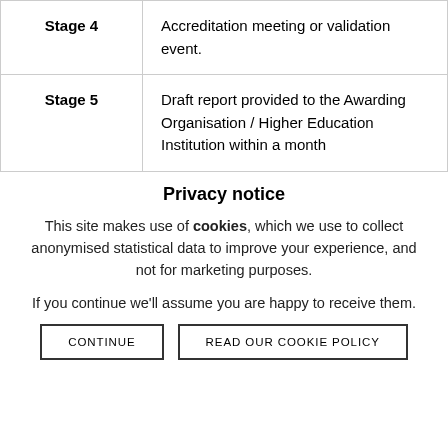| Stage | Description |
| --- | --- |
| Stage 4 | Accreditation meeting or validation event. |
| Stage 5 | Draft report provided to the Awarding Organisation / Higher Education Institution within a month |
Privacy notice
This site makes use of cookies, which we use to collect anonymised statistical data to improve your experience, and not for marketing purposes.
If you continue we'll assume you are happy to receive them.